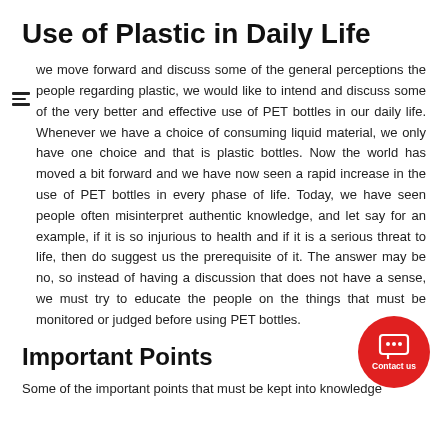Use of Plastic in Daily Life
we move forward and discuss some of the general perceptions the people regarding plastic, we would like to intend and discuss some of the very better and effective use of PET bottles in our daily life. Whenever we have a choice of consuming liquid material, we only have one choice and that is plastic bottles. Now the world has moved a bit forward and we have now seen a rapid increase in the use of PET bottles in every phase of life. Today, we have seen people often misinterpret authentic knowledge, and let say for an example, if it is so injurious to health and if it is a serious threat to life, then do suggest us the prerequisite of it. The answer may be no, so instead of having a discussion that does not have a sense, we must try to educate the people on the things that must be monitored or judged before using PET bottles.
Important Points
Some of the important points that must be kept into knowledge